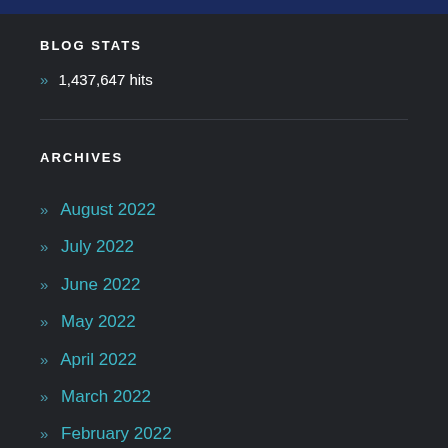BLOG STATS
» 1,437,647 hits
ARCHIVES
» August 2022
» July 2022
» June 2022
» May 2022
» April 2022
» March 2022
» February 2022
» January 2022